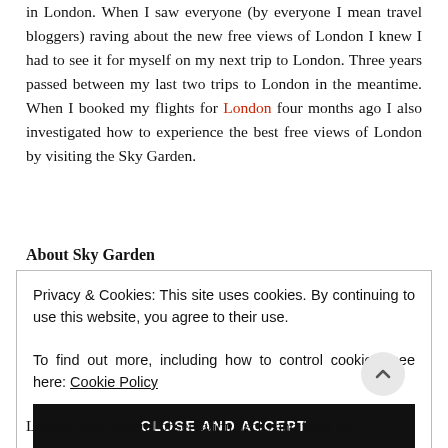in London. When I saw everyone (by everyone I mean travel bloggers) raving about the new free views of London I knew I had to see it for myself on my next trip to London. Three years passed between my last two trips to London in the meantime. When I booked my flights for London four months ago I also investigated how to experience the best free views of London by visiting the Sky Garden.
About Sky Garden
Privacy & Cookies: This site uses cookies. By continuing to use this website, you agree to their use.
To find out more, including how to control cookies, see here: Cookie Policy
CLOSE AND ACCEPT
London from several observation decks and from an